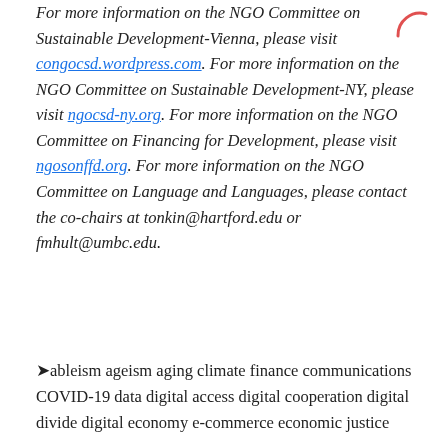For more information on the NGO Committee on Sustainable Development-Vienna, please visit congocsd.wordpress.com. For more information on the NGO Committee on Sustainable Development-NY, please visit ngocsd-ny.org. For more information on the NGO Committee on Financing for Development, please visit ngosonffd.org. For more information on the NGO Committee on Language and Languages, please contact the co-chairs at tonkin@hartford.edu or fmhult@umbc.edu.
ableism ageism aging climate finance communications COVID-19 data digital access digital cooperation digital divide digital economy e-commerce economic justice